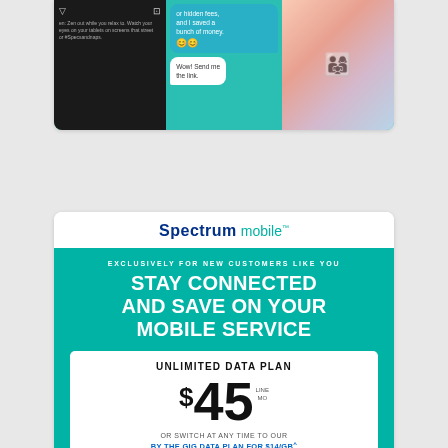[Figure (screenshot): Top portion showing phone screens with social media and chat messages on teal background, partially cropped at top]
[Figure (advertisement): Spectrum Mobile advertisement with logo, teal banner saying STAY CONNECTED AND SAVE ON YOUR MOBILE SERVICE, unlimited data plan for $45/mo, and SEE MY DEALS button]
Spectrum mobile
EXCLUSIVELY FOR NEW CUSTOMERS LIKE YOU
STAY CONNECTED AND SAVE ON YOUR MOBILE SERVICE
UNLIMITED DATA PLAN
$45 LINE/MO
OR SWITCH AT ANY TIME TO OUR BY THE GIG DATA PLAN FOR $14/GB^
SEE MY DEALS